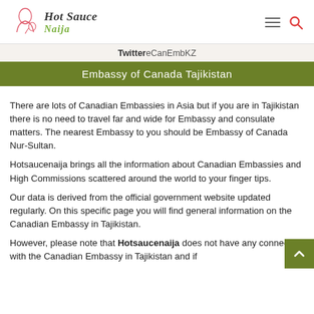Hot Sauce Naija
Twitter eCanEmbKZ
Embassy of Canada Tajikistan
There are lots of Canadian Embassies in Asia but if you are in Tajikistan there is no need to travel far and wide for Embassy and consulate matters. The nearest Embassy to you should be Embassy of Canada Nur-Sultan.
Hotsaucenaija brings all the information about Canadian Embassies and High Commissions scattered around the world to your finger tips.
Our data is derived from the official government website updated regularly. On this specific page you will find general information on the Canadian Embassy in Tajikistan.
However, please note that Hotsaucenaija does not have any connection with the Canadian Embassy in Tajikistan and if...